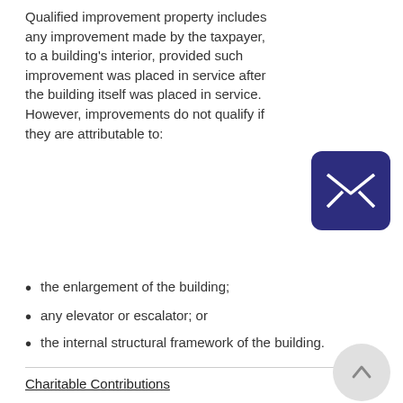Qualified improvement property includes any improvement made by the taxpayer, to a building's interior, provided such improvement was placed in service after the building itself was placed in service. However, improvements do not qualify if they are attributable to:
[Figure (illustration): Dark blue/purple rounded square icon containing a white envelope/email symbol]
the enlargement of the building;
any elevator or escalator; or
the internal structural framework of the building.
Charitable Contributions
The law increases the limitation of qualifying charitable contributions
[Figure (illustration): Light gray circular button with an upward-pointing arrow, used as a scroll-to-top button]